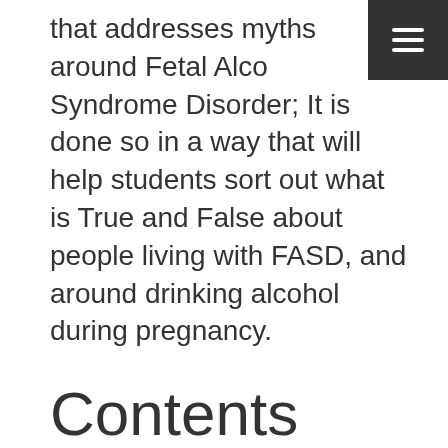that addresses myths around Fetal Alcohol Syndrome Disorder; It is done so in a way that will help students sort out what is True and False about people living with FASD, and around drinking alcohol during pregnancy.
Contents
Students will be given statements about the issues, and are asked to place their statement under the category of “Fact” or “Fiction”. Group discussion can occur from there.
Answer keys and additional notes for the